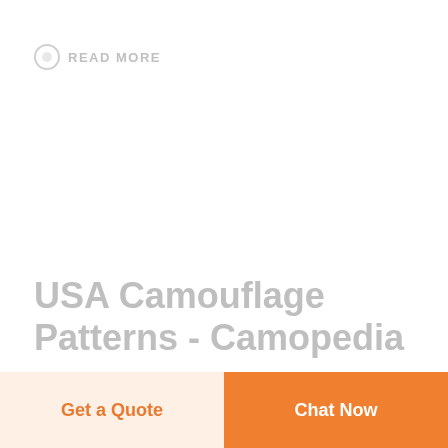READ MORE
USA Camouflage Patterns - Camopedia
Other countries in Asia, namely, Japan/Okinawa
Get a Quote
Chat Now